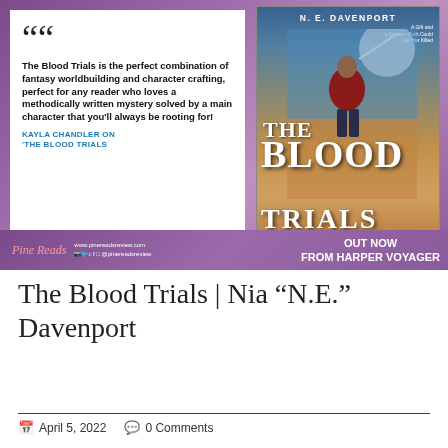[Figure (illustration): Promotional banner for 'The Blood Trials' by N.E. Davenport. Left side shows a white quote card with large open quotation marks, bold review text, and blue attribution text reading 'KAYLA CHANDLER ON THE BLOOD TRIALS'. Right side shows the book cover with a warrior woman holding a sword, purple/orange fantasy background, the text 'THE BLOOD TRIALS' and 'BOOK ONE OF THE BLOOD GIFT DUOLOGY'. At the bottom, Pine Reads logo with website and social handles on the left, and 'OUT NOW FROM HARPER VOYAGER' on the right.]
The Blood Trials is the perfect combination of fantasy worldbuilding and character crafting, perfect for any reader who loves a methodically written mystery solved by a main character that you'll always be rooting for!
KAYLA CHANDLER ON 'THE BLOOD TRIALS
The Blood Trials | Nia “N.E.” Davenport
April 5, 2022   0 Comments